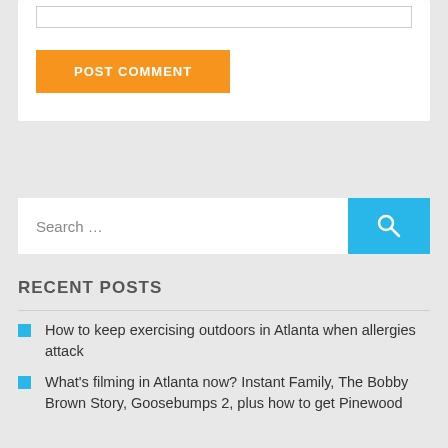[Figure (screenshot): Text input box (comment field) at top of page]
POST COMMENT
Search …
RECENT POSTS
How to keep exercising outdoors in Atlanta when allergies attack
What's filming in Atlanta now? Instant Family, The Bobby Brown Story, Goosebumps 2, plus how to get Pinewood